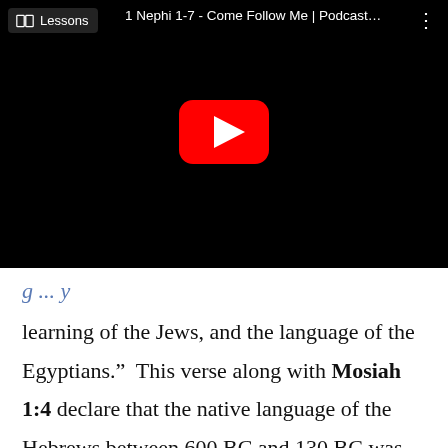[Figure (screenshot): YouTube video player showing '1 Nephi 1-7 - Come Follow Me | Podcast...' with a red play button on black background, Lessons tab visible in top-left, three-dot menu in top-right]
g ... y
learning of the Jews, and the language of the Egyptians.”  This verse along with Mosiah 1:4 declare that the native language of the Hebrews between 600 BC and 130 BC was Egyptian.
However, Mormon 9:32 in 400 AD differs in saying